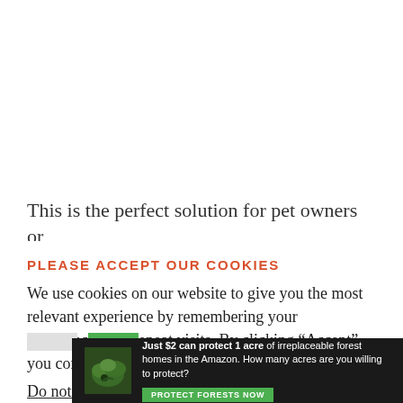This is the perfect solution for pet owners or
PLEASE ACCEPT OUR COOKIES
We use cookies on our website to give you the most relevant experience by remembering your preferences and repeat visits. By clicking “Accept”, you consent to the use of all the cookies.
Do not sell my personal information.
[Figure (infographic): Amazon forest protection advertisement banner: dark background with forest image, text 'Just $2 can protect 1 acre of irreplaceable forest homes in the Amazon. How many acres are you willing to protect?' and green 'PROTECT FORESTS NOW' button.]